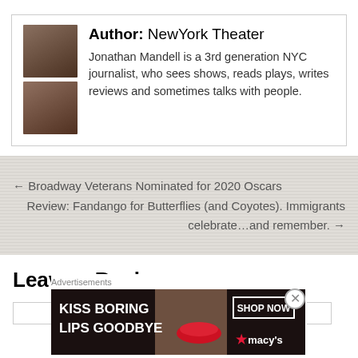Author: NewYork Theater
Jonathan Mandell is a 3rd generation NYC journalist, who sees shows, reads plays, writes reviews and sometimes talks with people.
← Broadway Veterans Nominated for 2020 Oscars
Review: Fandango for Butterflies (and Coyotes). Immigrants celebrate…and remember. →
Leave a Reply
[Figure (photo): Advertisement banner: KISS BORING LIPS GOODBYE with SHOP NOW button and Macy's logo]